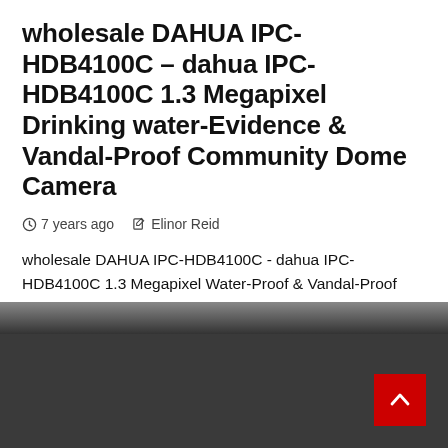wholesale DAHUA IPC-HDB4100C – dahua IPC-HDB4100C 1.3 Megapixel Drinking water-Evidence & Vandal-Proof Community Dome Camera
7 years ago   Elinor Reid
wholesale DAHUA IPC-HDB4100C - dahua IPC-HDB4100C 1.3 Megapixel Water-Proof & Vandal-Proof Network Dome Digital cameraIPC-HDB4300C• 1/3" one.3Megapixel progressive scan Aptina...
[Figure (photo): Partial photo strip showing blurred image at top, dark gray background section below with a red scroll-to-top button in the bottom right corner]